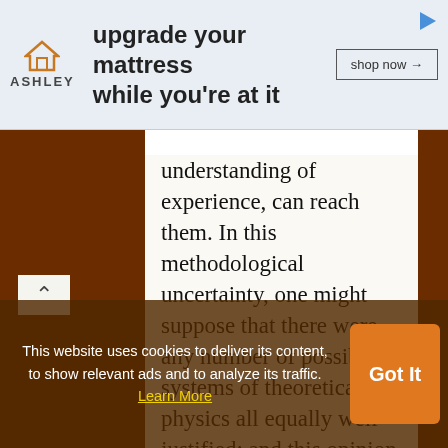[Figure (other): Ashley Furniture advertisement banner: house/home logo icon, Ashley brand name, text 'upgrade your mattress while you're at it', 'shop now →' button, play icon in top right]
understanding of experience, can reach them. In this methodological uncertainty, one might suppose that there were any number of possible systems of theoretical physics all equally well justified; and this opinion is no doubt correct, theoretically. But the development of physics has shown that at any given moment, out of all conceivable constructions, a single
This website uses cookies to deliver its content, to show relevant ads and to analyze its traffic. Learn More
Got It